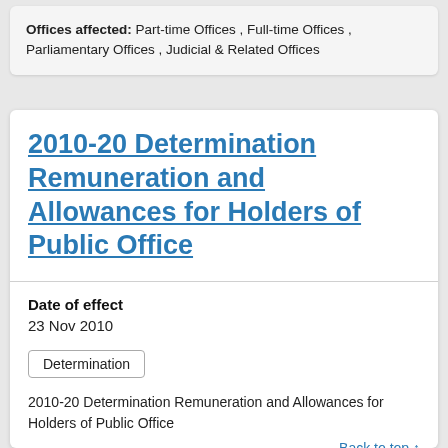Offices affected: Part-time Offices , Full-time Offices , Parliamentary Offices , Judicial & Related Offices
2010-20 Determination Remuneration and Allowances for Holders of Public Office
Date of effect
23 Nov 2010
Determination
2010-20 Determination Remuneration and Allowances for Holders of Public Office
Back to top ↑